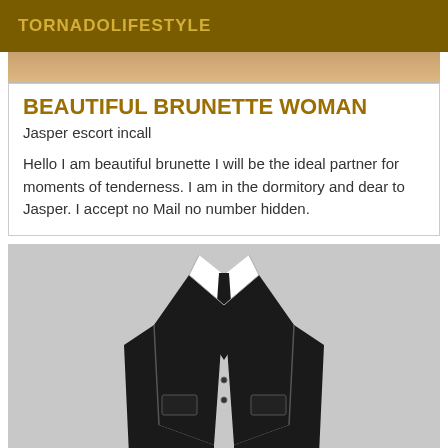TORNADOLIFESTYLE
BEAUTIFUL BRUNETTE WOMAN
Jasper escort incall
Hello I am beautiful brunette I will be the ideal partner for moments of tenderness. I am in the dormitory and dear to Jasper. I accept no Mail no number hidden.
[Figure (illustration): Headless male suit mannequin illustration showing a dark black suit with white dress shirt and black tie on a light gray background]